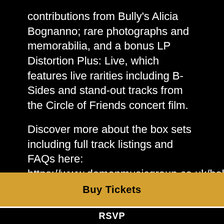contributions from Bully's Alicia Bognanno; rare photographs and memorabilia, and a bonus LP Distortion Plus: Live, which features live rarities including B-Sides and stand-out tracks from the Circle of Friends concert film.
Discover more about the box sets including full track listings and FAQs here: https://www.demonmusicgroup.co.uk/bob-mould-distortion/
Links: Website | Facebook | Instagram | Twitter
Buy Tickets
RSVP